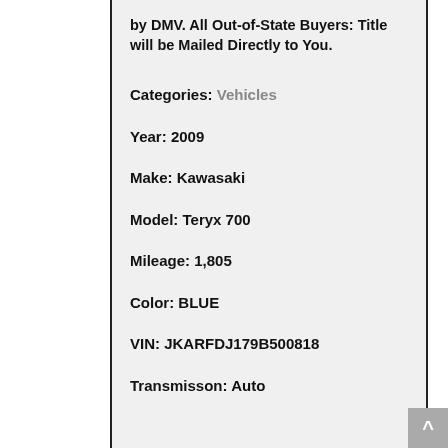by DMV. All Out-of-State Buyers: Title will be Mailed Directly to You.
Categories: Vehicles
Year: 2009
Make: Kawasaki
Model: Teryx 700
Mileage: 1,805
Color: BLUE
VIN: JKARFDJ179B500818
Transmisson: Auto